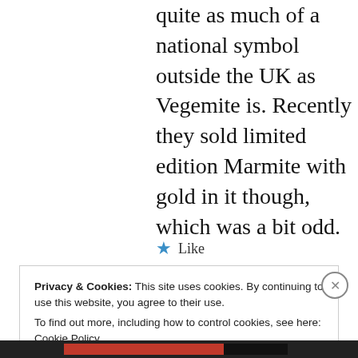quite as much of a national symbol outside the UK as Vegemite is. Recently they sold limited edition Marmite with gold in it though, which was a bit odd.
★ Like
Privacy & Cookies: This site uses cookies. By continuing to use this website, you agree to their use. To find out more, including how to control cookies, see here: Cookie Policy
Close and accept